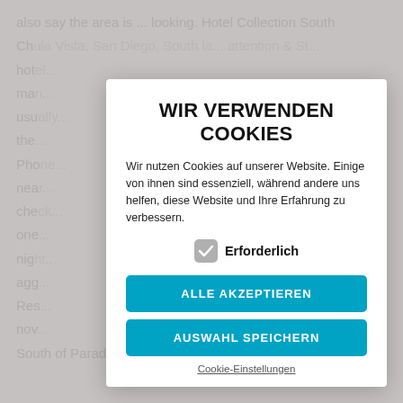also say the area is ... looking. Hotel Collection South Ch... also San Diego South la... attention & St... hot... ma... usu... the... Ph... ne... che... one... nig... agg... int Res... o... nov... s South of Paradise Hills are provided below in the center
WIR VERWENDEN COOKIES
Wir nutzen Cookies auf unserer Website. Einige von ihnen sind essenziell, während andere uns helfen, diese Website und Ihre Erfahrung zu verbessern.
Erforderlich
ALLE AKZEPTIEREN
AUSWAHL SPEICHERN
Cookie-Einstellungen